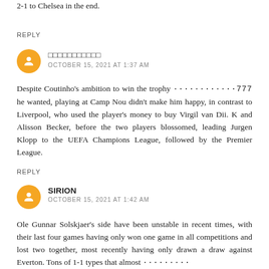2-1 to Chelsea in the end.
REPLY
□□□□□□□□□□□
OCTOBER 15, 2021 AT 1:37 AM
Despite Coutinho's ambition to win the trophy ············777 he wanted, playing at Camp Nou didn't make him happy, in contrast to Liverpool, who used the player's money to buy Virgil van Dii. K and Alisson Becker, before the two players blossomed, leading Jurgen Klopp to the UEFA Champions League, followed by the Premier League.
REPLY
SIRION
OCTOBER 15, 2021 AT 1:42 AM
Ole Gunnar Solskjaer's side have been unstable in recent times, with their last four games having only won one game in all competitions and lost two together, most recently having only drawn a draw against Everton. Tons of 1-1 types that almost ·········